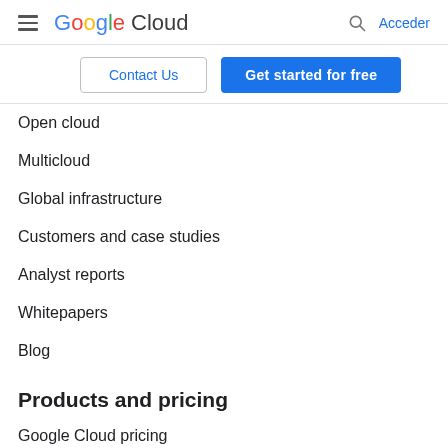Google Cloud  Acceder
Contact Us
Get started for free
Open cloud
Multicloud
Global infrastructure
Customers and case studies
Analyst reports
Whitepapers
Blog
Products and pricing
Google Cloud pricing
Google Workspace pricing